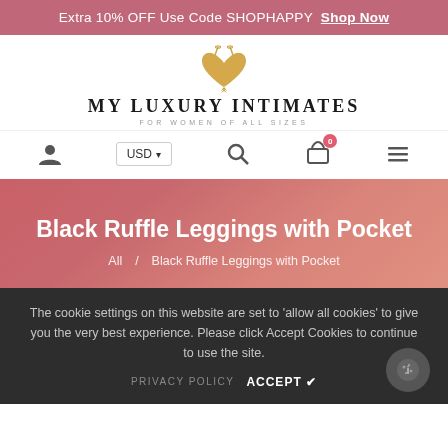Extra 10% OFF Use Code SHOPHAPPY Shop Now
[Figure (logo): My Luxury Intimates logo — gold heart shape above brand name text and tagline FOR WOMEN OF ALL SIZES]
[Figure (infographic): Navigation bar with user icon, USD currency selector, search icon, shopping cart with 0 badge, and hamburger menu icon]
Black Ruffle Leggings with Pocket
All / Black Ruffle Leggings with Pocket
The cookie settings on this website are set to 'allow all cookies' to give you the very best experience. Please click Accept Cookies to continue to use the site.
PRIVACY POLICY   ACCEPT ✔